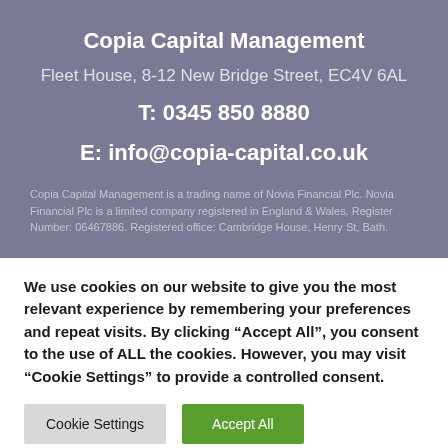Copia Capital Management
Fleet House, 8-12 New Bridge Street, EC4V 6AL
T: 0345 850 8880
E: info@copia-capital.co.uk
Copia Capital Management is a trading name of Novia Financial Plc. Novia Financial Plc is a limited company registered in England & Wales. Register Number: 06467886. Registered office: Cambridge House, Henry St, Bath.
We use cookies on our website to give you the most relevant experience by remembering your preferences and repeat visits. By clicking “Accept All”, you consent to the use of ALL the cookies. However, you may visit "Cookie Settings" to provide a controlled consent.
Cookie Settings
Accept All